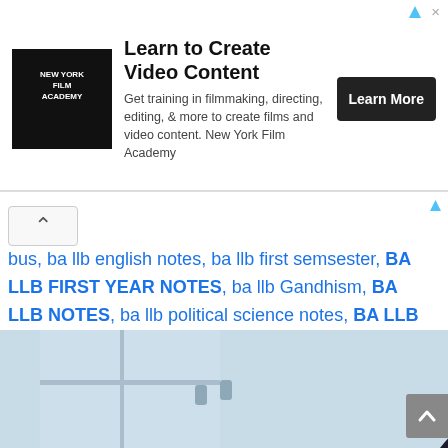[Figure (photo): New York Film Academy advertisement banner with logo, headline 'Learn to Create Video Content', body text about filmmaking training, and a 'Learn More' button.]
bus, ba llb english notes, ba llb first semsester, BA LLB FIRST YEAR NOTES, ba llb Gandhism, BA LLB NOTES, ba llb political science notes, BA LLB Political Theory, BA LLB Political Theory-1, ba llb sample question answer, ba llb socialism notes, BA LLB SUBJECT, BA LLB THEORY, ba llb unit-2, ba lllb liberalism
[Figure (photo): Partial image of a professional woman with glasses and a ponytail wearing a dark blazer, viewed from the side in an office setting.]